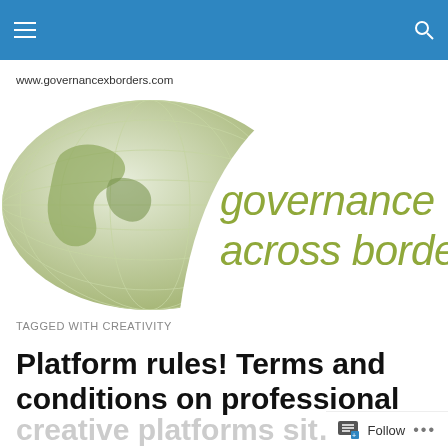www.governancexborders.com
[Figure (logo): Governance Across Borders logo with globe graphic on left and italic text 'governance across borders' on right with olive/green color scheme]
TAGGED WITH CREATIVITY
Platform rules! Terms and conditions on professional
creative platforms sit…